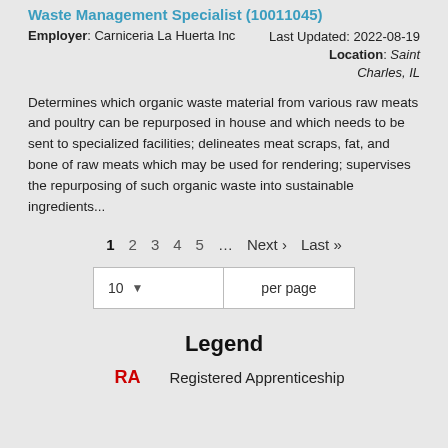Waste Management Specialist (10011045)
Employer: Carniceria La Huerta Inc   Last Updated: 2022-08-19   Location: Saint Charles, IL
Determines which organic waste material from various raw meats and poultry can be repurposed in house and which needs to be sent to specialized facilities; delineates meat scraps, fat, and bone of raw meats which may be used for rendering; supervises the repurposing of such organic waste into sustainable ingredients...
Pagination: 1 2 3 4 5 ... Next › Last »
10 per page
Legend
RA  Registered Apprenticeship